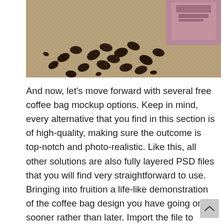[Figure (photo): Photo of coffee beans scattered on a burlap/hessian surface with a pink/mauve packaging object partially visible in the upper right corner.]
And now, let's move forward with several free coffee bag mockup options. Keep in mind, every alternative that you find in this section is of high-quality, making sure the outcome is top-notch and photo-realistic. Like this, all other solutions are also fully layered PSD files that you will find very straightforward to use. Bringing into fruition a life-like demonstration of the coffee bag design you have going on sooner rather than later. Import the file to Photoshop, double click on the smart object layer, insert your design and sav your creation. This is all the work necessary for a